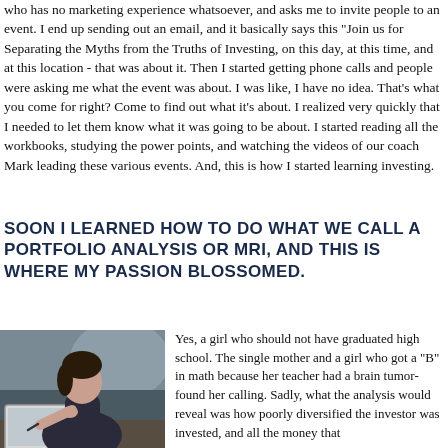who has no marketing experience whatsoever, and asks me to invite people to an event. I end up sending out an email, and it basically says this "Join us for Separating the Myths from the Truths of Investing, on this day, at this time, and at this location - that was about it. Then I started getting phone calls and people were asking me what the event was about. I was like, I have no idea. That's what you come for right? Come to find out what it's about. I realized very quickly that I needed to let them know what it was going to be about. I started reading all the workbooks, studying the power points, and watching the videos of our coach Mark leading these various events. And, this is how I started learning investing.
SOON I LEARNED HOW TO DO WHAT WE CALL A PORTFOLIO ANALYSIS OR MRI, AND THIS IS WHERE MY PASSION BLOSSOMED.
[Figure (photo): A woman sitting at a desk, holding a pen to her chin, looking thoughtful, with a tablet or device in front of her.]
Yes, a girl who should not have graduated high school. The single mother and a girl who got a "B" in math because her teacher had a brain tumor- found her calling. Sadly, what the analysis would reveal was how poorly diversified the investor was invested, and all the money that